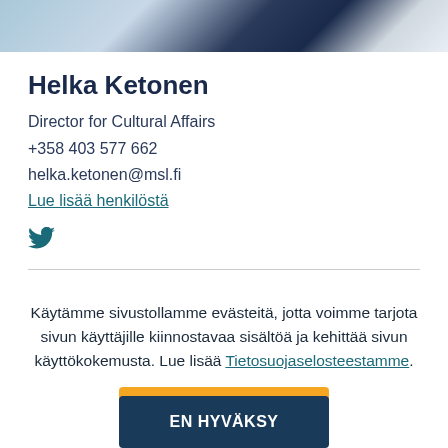[Figure (photo): Partial photo strip at top showing a person in blue/dark tones]
Helka Ketonen
Director for Cultural Affairs
+358 403 577 662
helka.ketonen@msl.fi
Lue lisää henkilöstä
[Figure (logo): Twitter bird icon]
Käytämme sivustollamme evästeitä, jotta voimme tarjota sivun käyttäjille kiinnostavaa sisältöä ja kehittää sivun käyttökokemusta. Lue lisää Tietosuojaselosteestamme.
HYVÄKSYN
EN HYVÄKSY